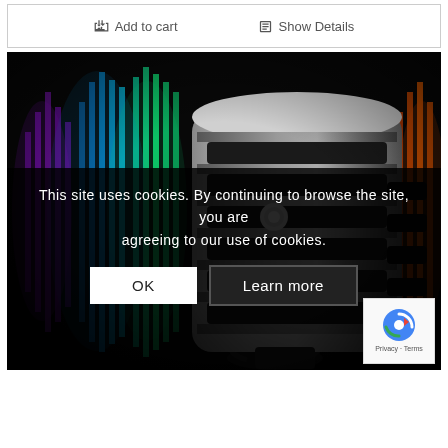Add to cart  Show Details
[Figure (photo): Vintage silver retro microphone against a dark background with colorful sound wave visualizer equalizer bars in purple, teal, green, and orange colors on the left side]
This site uses cookies. By continuing to browse the site, you are agreeing to our use of cookies.
OK   Learn more